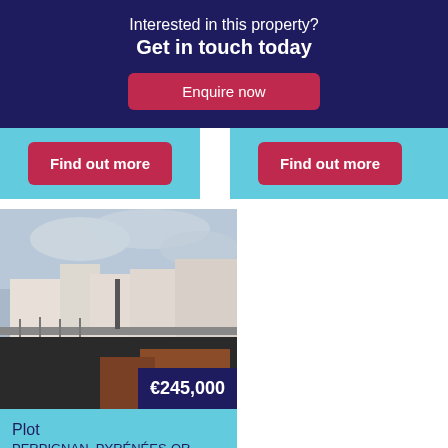Interested in this property?
Get in touch today
Enquire now
Find out more
Find out more
[Figure (photo): Exterior photo of a property showing rooftops and cloudy sky, overlaid with price tag €245,000]
Plot
PERPIGNAN, PYRÉNÉES-OR...
0 bed